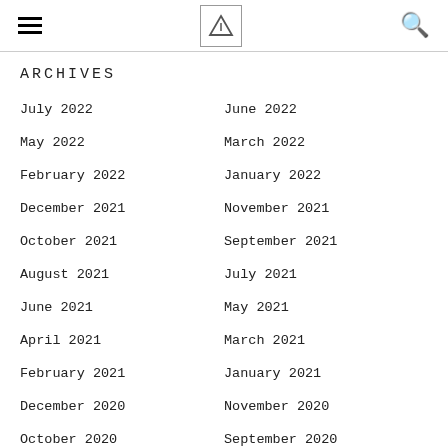≡ [logo] 🔍
ARCHIVES
July 2022
June 2022
May 2022
March 2022
February 2022
January 2022
December 2021
November 2021
October 2021
September 2021
August 2021
July 2021
June 2021
May 2021
April 2021
March 2021
February 2021
January 2021
December 2020
November 2020
October 2020
September 2020